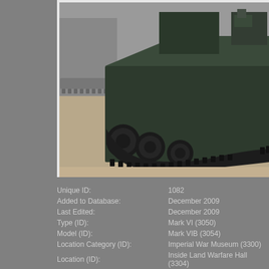[Figure (photo): Close-up photograph of a military tank, showing the lower hull, track system with visible drive wheels and track links, and undercarriage. The tank appears to be dark olive green/black, displayed indoors on a sandy/concrete floor. Part of another vehicle is visible in the background.]
| Unique ID: | 1082 |
| Added to Database: | December 2009 |
| Last Edited: | December 2009 |
| Type (ID): | Mark VI (3050) |
| Model (ID): | Mark VIB (3054) |
| Location Category (ID): | Imperial War Museum (3300) |
| Location (ID): | Inside Land Warfare Hall (3304) |
| Serial Number: |  |